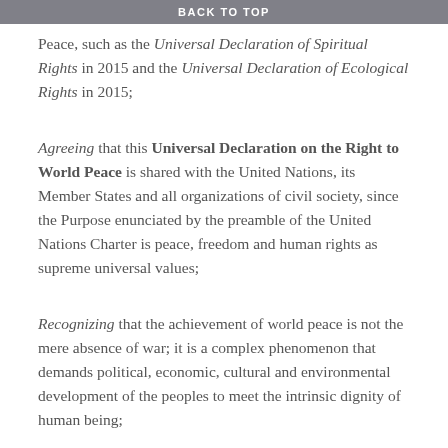BACK TO TOP
Peace, such as the Universal Declaration of Spiritual Rights in 2015 and the Universal Declaration of Ecological Rights in 2015;
Agreeing that this Universal Declaration on the Right to World Peace is shared with the United Nations, its Member States and all organizations of civil society, since the Purpose enunciated by the preamble of the United Nations Charter is peace, freedom and human rights as supreme universal values;
Recognizing that the achievement of world peace is not the mere absence of war; it is a complex phenomenon that demands political, economic, cultural and environmental development of the peoples to meet the intrinsic dignity of human being;
Recalling that the appropriate implementation of the principles and norms of International Law is fundamental